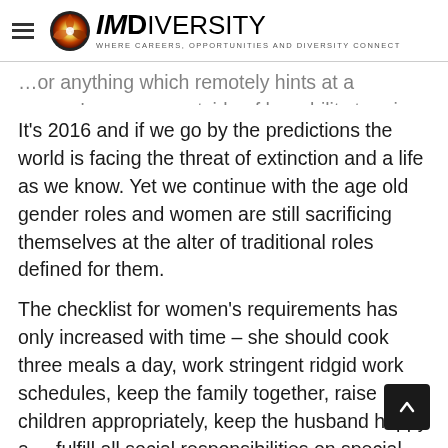IMDiversity — Where Careers, Opportunities and Diversity Connect
… or anything which remotely hints at a women's success outside of her ability to raise a family. The traditional gender roles are never more striking.
It's 2016 and if we go by the predictions the world is facing the threat of extinction and a life as we know. Yet we continue with the age old gender roles and women are still sacrificing themselves at the alter of traditional roles defined for them.
The checklist for women's requirements has only increased with time – she should cook three meals a day, work stringent ridgid work schedules, keep the family together, raise children appropriately, keep the husband happy and fulfill all social responsibilities on special occasions,